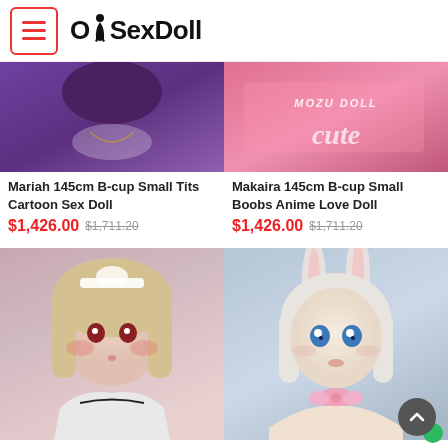[Figure (logo): OkSexDoll website logo with hamburger menu icon in red border]
[Figure (photo): Close-up photo of anime sex doll in purple clothing with white fur collar and chain necklace]
[Figure (photo): Close-up photo of Mozu Doll product in pink clothing with watermark text]
Mariah 145cm B-cup Small Tits Cartoon Sex Doll
$1,426.00 $1,711.20
Makaira 145cm B-cup Small Boobs Anime Love Doll
$1,426.00 $1,711.20
[Figure (photo): Anime-style sex doll with blonde hair and maid outfit, red eyes]
[Figure (photo): Anime-style sex doll with white hair and bunny ears headband, blue eyes, pink bow tie]